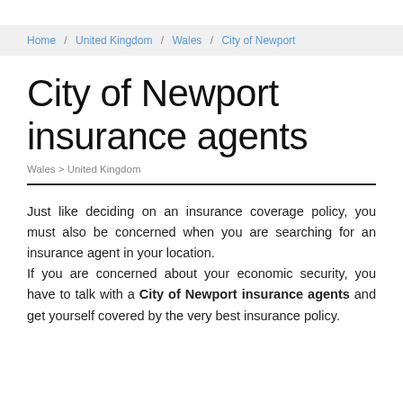Home / United Kingdom / Wales / City of Newport
City of Newport insurance agents
Wales > United Kingdom
Just like deciding on an insurance coverage policy, you must also be concerned when you are searching for an insurance agent in your location. If you are concerned about your economic security, you have to talk with a City of Newport insurance agents and get yourself covered by the very best insurance policy.